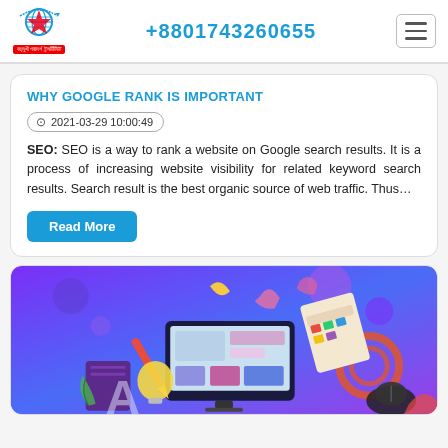+8801743260655
WHY GOOGLE RANK IS IMPORTANT
2021-03-29 10:00:49
SEO: SEO is a way to rank a website on Google search results. It is a process of increasing website visibility for related keyword search results. Search result is the best organic source of web traffic. Thus…
Read More
[Figure (illustration): Colorful graphic illustration of web/graphic design tools including a computer monitor with UI design, color palette cards, pencils, notebook, lightbulb, and mouse on a purple/blue gradient background with decorative shapes]